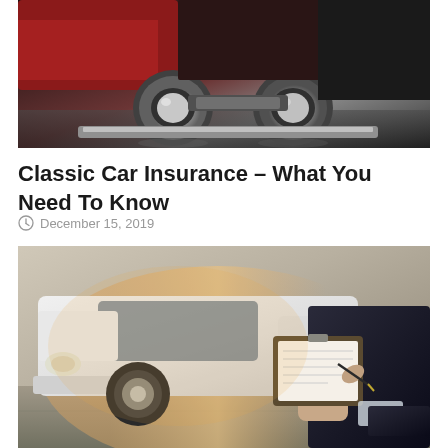[Figure (photo): Close-up of classic car rear with chrome taillight/exhaust details, dark and moody automotive photography]
Classic Car Insurance – What You Need To Know
December 15, 2019
[Figure (photo): White car in background with a person in a dark suit writing on a clipboard in the foreground, insurance assessment scene]